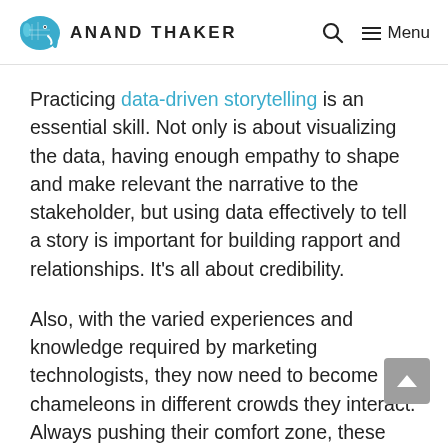ANAND THAKER
Practicing data-driven storytelling is an essential skill. Not only is about visualizing the data, having enough empathy to shape and make relevant the narrative to the stakeholder, but using data effectively to tell a story is important for building rapport and relationships. It's all about credibility.
Also, with the varied experiences and knowledge required by marketing technologists, they now need to become chameleons in different crowds they interact. Always pushing their comfort zone, these leaders now learn to be authenticate, active listeners who work to elevate others